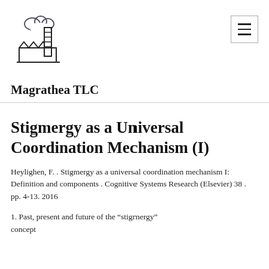[Figure (logo): Hand-drawn style logo of a factory with smoke cloud and zigzag fence/wall elements]
Magrathea TLC
Heylighen, F. . Stigmergy as a universal coordination mechanism I: Definition and components . Cognitive Systems Research (Elsevier) 38 . pp. 4-13. 2016
1. Past, present and future of the “stigmergy” concept